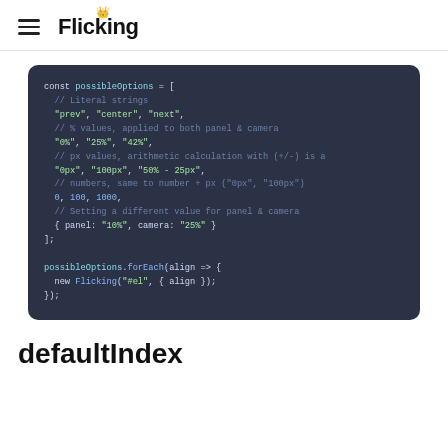Flicking
[Figure (screenshot): Dark code block showing JavaScript code with possibleOptions array and possibleOptions.forEach usage]
defaultIndex